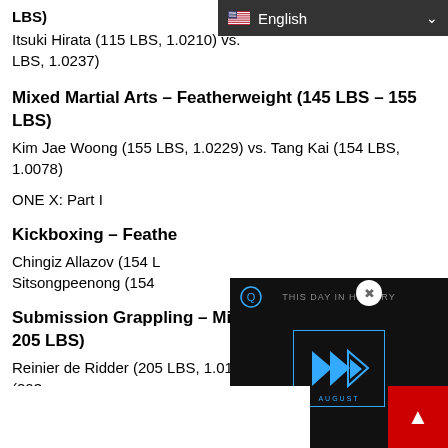LBS)
Itsuki Hirata (115 LBS, 1.0210) vs. [name] LBS, 1.0237)
Mixed Martial Arts – Featherweight (145 LBS – 155 LBS)
Kim Jae Woong (155 LBS, 1.0229) vs. Tang Kai (154 LBS, 1.0078)
ONE X: Part I
Kickboxing – Featherweight
Chingiz Allazov (154 LBS, ...) vs. Sitsongpeenong (154...)
Submission Grappling – Middleweight (190 LBS – 205 LBS)
Reinier de Ridder (205 LBS, 1.0124) vs. Andre G... (203...)
[Figure (screenshot): Video player overlay showing 'THIS DAY IN HISTORY' with blue play icons and 'AUGUST' label on dark background. Mute icon visible. English language selector bar at top right.]